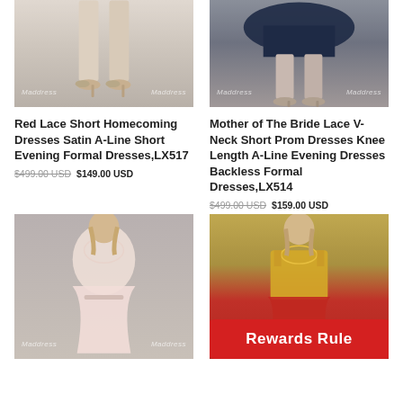[Figure (photo): Bottom half of model wearing a red lace short dress with beige heels on grey background, with Maddress watermarks]
[Figure (photo): Bottom half of model wearing a navy lace knee-length dress with heels on grey background, with Maddress watermarks]
Red Lace Short Homecoming Dresses Satin A-Line Short Evening Formal Dresses,LX517
$499.00 USD $149.00 USD
Mother of The Bride Lace V-Neck Short Prom Dresses Knee Length A-Line Evening Dresses Backless Formal Dresses,LX514
$499.00 USD $159.00 USD
[Figure (photo): Model wearing a pink chiffon bridesmaid dress with sheer neckline and beaded belt on grey background, with Maddress watermarks]
[Figure (photo): Model wearing a gold sequin top with red skirt two-piece dress on grey background, with Maddress watermarks and a red Rewards Rule button overlay]